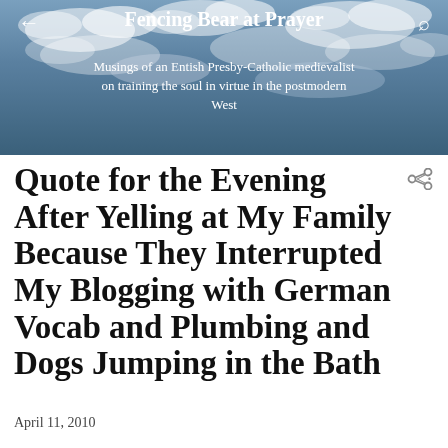Fencing Bear at Prayer
Musings of an Entish Presby-Catholic medievalist on training the soul in virtue in the postmodern West
Quote for the Evening After Yelling at My Family Because They Interrupted My Blogging with German Vocab and Plumbing and Dogs Jumping in the Bath
April 11, 2010